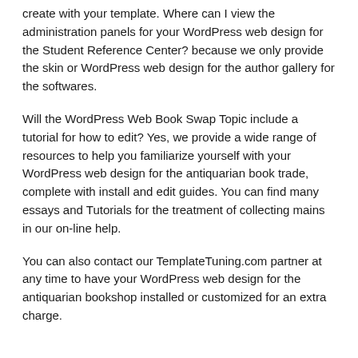create with your template. Where can I view the administration panels for your WordPress web design for the Student Reference Center? because we only provide the skin or WordPress web design for the author gallery for the softwares.
Will the WordPress Web Book Swap Topic include a tutorial for how to edit? Yes, we provide a wide range of resources to help you familiarize yourself with your WordPress web design for the antiquarian book trade, complete with install and edit guides. You can find many essays and Tutorials for the treatment of collecting mains in our on-line help.
You can also contact our TemplateTuning.com partner at any time to have your WordPress web design for the antiquarian bookshop installed or customized for an extra charge.